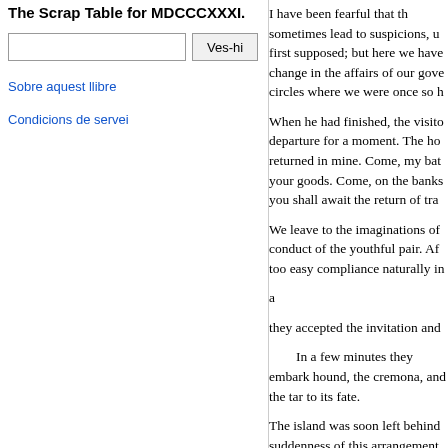The Scrap Table for MDCCCXXXI.
Sobre aquest llibre
Condicions de servei
I have been fearful that th sometimes lead to suspicions, u first supposed; but here we have change in the affairs of our gove circles where we were once so h
When he had finished, the visito departure for a moment. The ho returned in mine. Come, my bat your goods. Come, on the banks you shall await the return of tra
We leave to the imaginations of conduct of the youthful pair. Af too easy compliance naturally in a
they accepted the invitation and
In a few minutes they embark hound, the cremona, and the tar to its fate.
The island was soon left behind suddenness of this arrangement